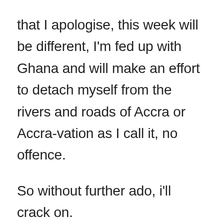that I apologise, this week will be different, I'm fed up with Ghana and will make an effort to detach myself from the rivers and roads of Accra or Accra-vation as I call it, no offence.
So without further ado, i'll crack on.
On My Marks...
Get Set...